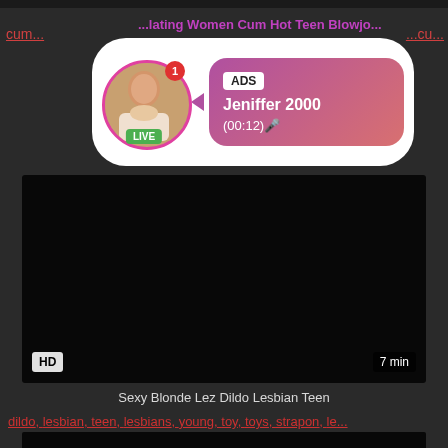[Figure (screenshot): Ad popup overlay showing a live user profile with avatar, LIVE badge, notification dot, ADS label, name Jeniffer 2000, time (00:12), gradient pink background]
cum...
...cu...
[Figure (screenshot): Dark video thumbnail with HD badge bottom left and 7 min duration badge bottom right]
Sexy Blonde Lez Dildo Lesbian Teen
dildo, lesbian, teen, lesbians, young, toy, toys, strapon, le...
[Figure (screenshot): Dark video thumbnail at bottom of page, partially visible]